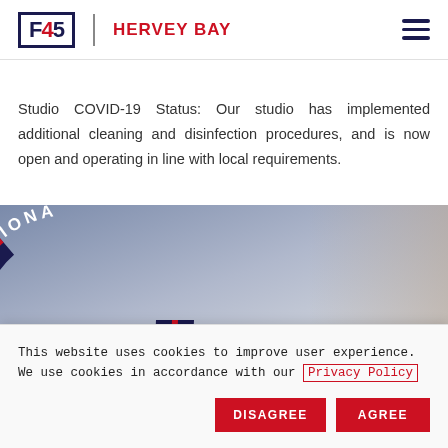[Figure (logo): F45 Training Hervey Bay logo with F45 in a navy box, vertical divider, and HERVEY BAY in red text. Hamburger menu icon on right.]
Studio COVID-19 Status: Our studio has implemented additional cleaning and disinfection procedures, and is now open and operating in line with local requirements.
[Figure (photo): Background photo showing a circular F45 branded sign with 'FUNCTIONAL' text curved around it, overlaid with 'TEAM TRAINING' and 'FASTEST GROWING' text in white.]
This website uses cookies to improve user experience. We use cookies in accordance with our Privacy Policy
DISAGREE   AGREE